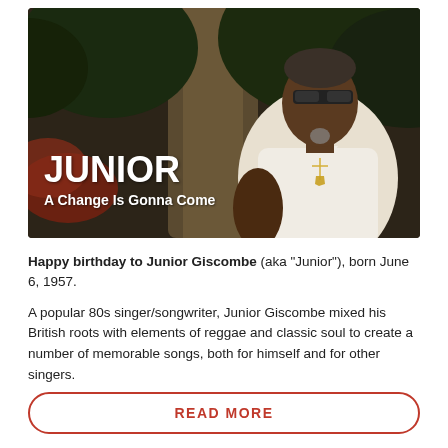[Figure (photo): Photo of Junior Giscombe (singer) standing in front of a tree, wearing a white shirt and sunglasses with a cross necklace. White bold text overlay reads 'JUNIOR' and subtitle 'A Change Is Gonna Come'.]
Happy birthday to Junior Giscombe (aka "Junior"), born June 6, 1957.
A popular 80s singer/songwriter, Junior Giscombe mixed his British roots with elements of reggae and classic soul to create a number of memorable songs, both for himself and for other singers.
READ MORE